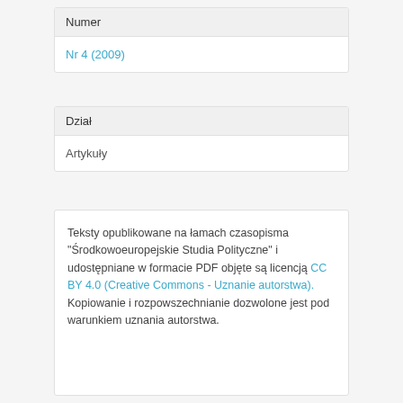Numer
Nr 4 (2009)
Dział
Artykuły
Teksty opublikowane na łamach czasopisma "Środkowoeuropejskie Studia Polityczne" i udostępniane w formacie PDF objęte są licencją CC BY 4.0 (Creative Commons - Uznanie autorstwa). Kopiowanie i rozpowszechnianie dozwolone jest pod warunkiem uznania autorstwa.